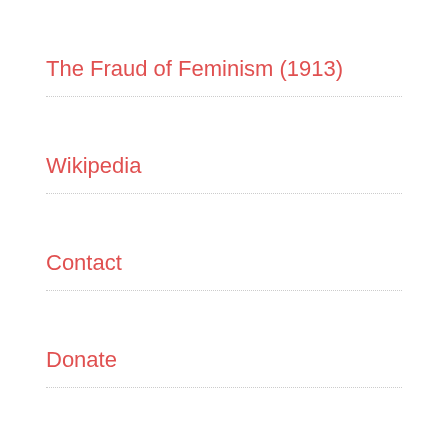The Fraud of Feminism (1913)
Wikipedia
Contact
Donate
The ИUMR Smoking Club